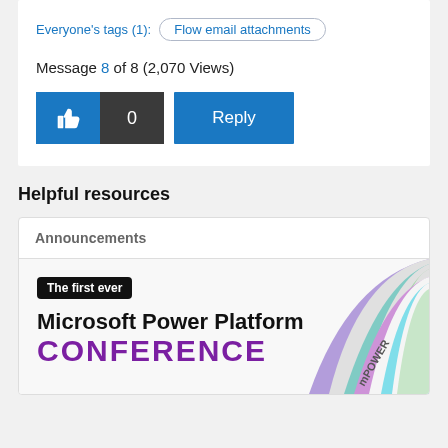Everyone's tags (1): Flow email attachments
Message 8 of 8 (2,070 Views)
[Figure (screenshot): Like button with thumbs up icon, count 0, and Reply button]
Helpful resources
Announcements
[Figure (illustration): Microsoft Power Platform Conference banner with 'The first ever' badge and colorful arc graphic with mPOWER text]